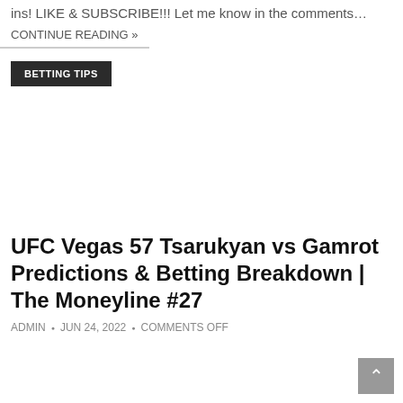ins! LIKE & SUBSCRIBE!!! Let me know in the comments…
CONTINUE READING »
BETTING TIPS
UFC Vegas 57 Tsarukyan vs Gamrot Predictions & Betting Breakdown | The Moneyline #27
ADMIN • JUN 24, 2022 • COMMENTS OFF